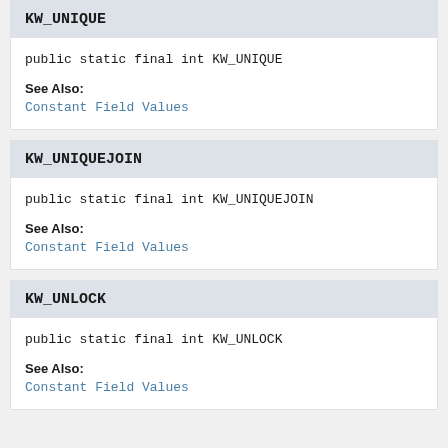KW_UNIQUE
public static final int KW_UNIQUE
See Also:
Constant Field Values
KW_UNIQUEJOIN
public static final int KW_UNIQUEJOIN
See Also:
Constant Field Values
KW_UNLOCK
public static final int KW_UNLOCK
See Also:
Constant Field Values